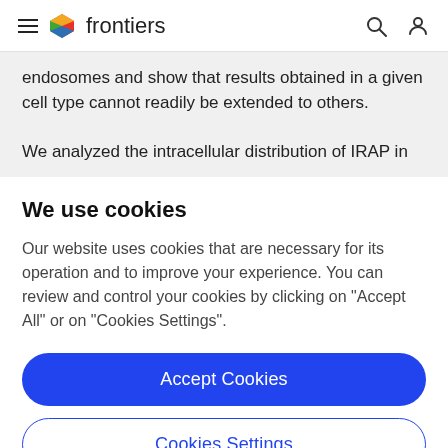frontiers
endosomes and show that results obtained in a given cell type cannot readily be extended to others.

We analyzed the intracellular distribution of IRAP in
We use cookies
Our website uses cookies that are necessary for its operation and to improve your experience. You can review and control your cookies by clicking on "Accept All" or on "Cookies Settings".
Accept Cookies
Cookies Settings